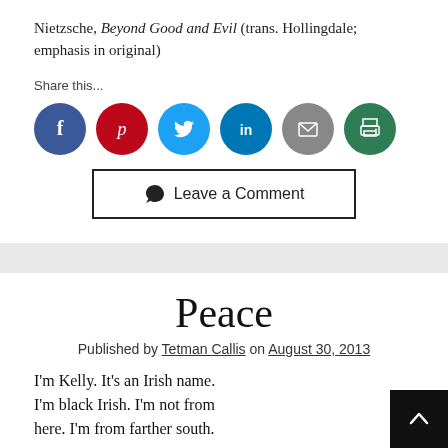Nietzsche, Beyond Good and Evil (trans. Hollingdale; emphasis in original)
Share this...
[Figure (infographic): Six social share icons: Facebook (blue circle), Pinterest (red circle), Twitter (light blue circle), LinkedIn (teal circle), Email (gray circle), Print (green circle)]
Leave a Comment
Peace
Published by Tetman Callis on August 30, 2013
I'm Kelly.  It's an Irish name.
I'm black Irish.  I'm not from
here.  I'm from farther south.